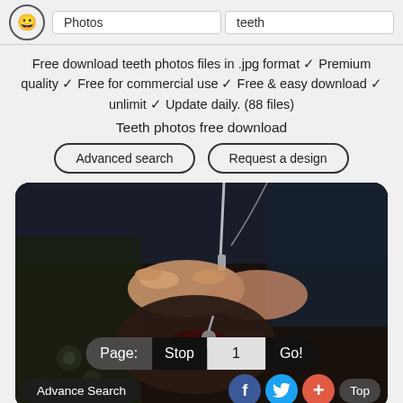Photos  teeth
Free download teeth photos files in .jpg format ✓ Premium quality ✓ Free for commercial use ✓ Free & easy download ✓ unlimit ✓ Update daily. (88 files)
Teeth photos free download
Advanced search
Request a design
[Figure (photo): Dental procedure photo showing hands performing dental work on a patient's open mouth with tools, dark background]
Page:  Stop  1  Go!
Advance Search
f (Facebook)
Twitter bird icon
+
Top